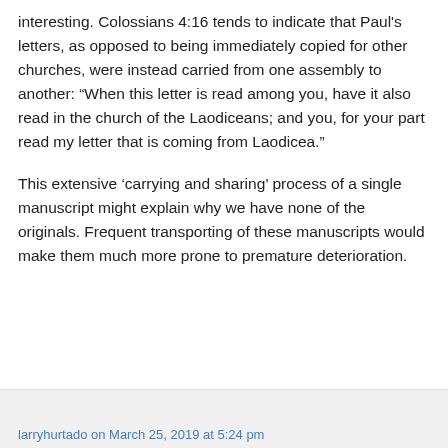interesting. Colossians 4:16 tends to indicate that Paul's letters, as opposed to being immediately copied for other churches, were instead carried from one assembly to another: “When this letter is read among you, have it also read in the church of the Laodiceans; and you, for your part read my letter that is coming from Laodicea.”
This extensive ‘carrying and sharing’ process of a single manuscript might explain why we have none of the originals. Frequent transporting of these manuscripts would make them much more prone to premature deterioration.
larryhurtado on March 25, 2019 at 5:24 pm